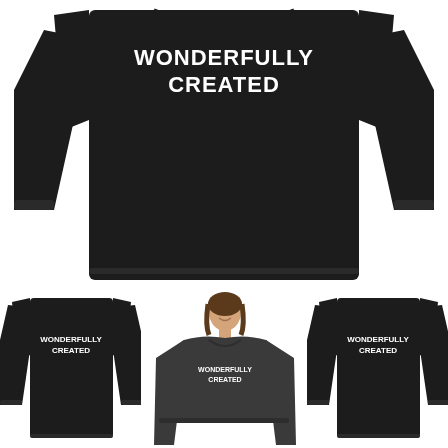[Figure (photo): Large black long-sleeve shirt (flat lay, front view) with 'WONDERFULLY CREATED' printed in white collegiate/bold letters on the chest area. The shirt is displayed against a white background.]
[Figure (photo): Three smaller product photos in a row: (left) black long-sleeve shirt flat lay showing 'WONDERFULLY CREATED' text, (center) woman wearing a dark heather grey long-sleeve shirt with 'WONDERFULLY CREATED' text, (right) black long-sleeve shirt flat lay showing 'WONDERFULLY CREATED' text.]